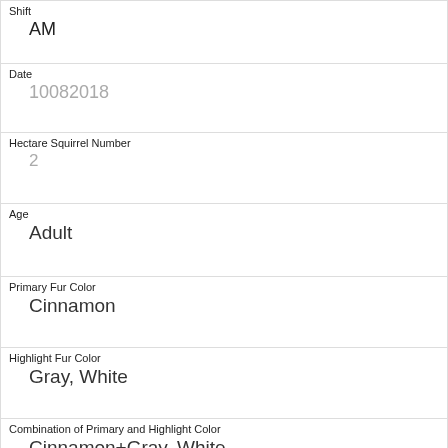| Shift | AM |
| Date | 10082018 |
| Hectare Squirrel Number | 2 |
| Age | Adult |
| Primary Fur Color | Cinnamon |
| Highlight Fur Color | Gray, White |
| Combination of Primary and Highlight Color | Cinnamon+Gray, White |
| Color notes |  |
| Location | Above Ground |
| Above Ground Sighter Measurement | 1 |
| Specific Location |  |